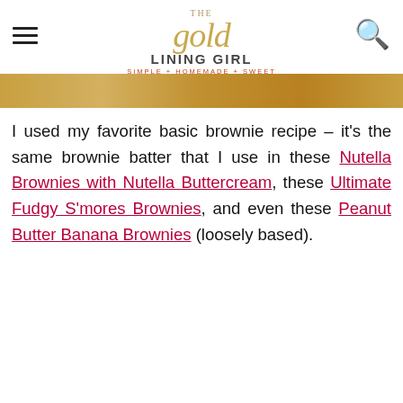THE gold LINING GIRL - SIMPLE + HOMEMADE + SWEET
[Figure (photo): Gold/brown colored food image strip at top of page]
I used my favorite basic brownie recipe – it's the same brownie batter that I use in these Nutella Brownies with Nutella Buttercream, these Ultimate Fudgy S'mores Brownies, and even these Peanut Butter Banana Brownies (loosely based).